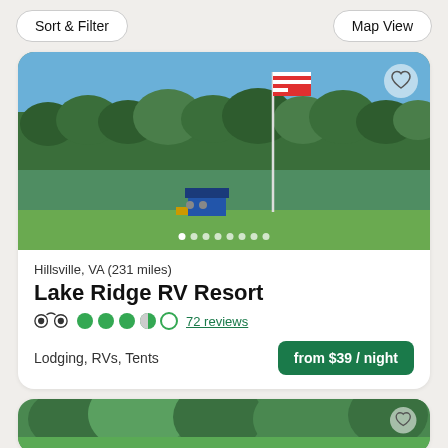Sort & Filter | Map View
[Figure (photo): Outdoor photo of Lake Ridge RV Resort showing a forested lake scene with an American flag on a pole, blue sky, and a small structure near the water. Image carousel with dot indicators.]
Hillsville, VA (231 miles)
Lake Ridge RV Resort
72 reviews
Lodging, RVs, Tents
from $39 / night
[Figure (photo): Partial view of a second listing card showing a forested outdoor scene, partially cut off at the bottom of the page.]